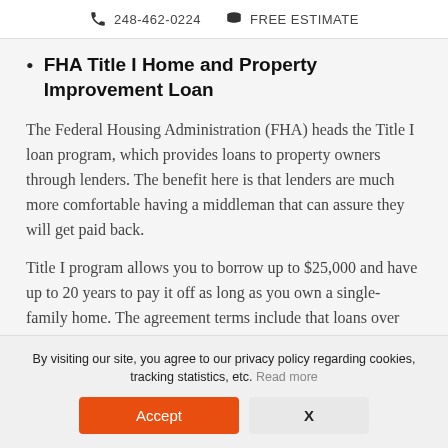248-462-0224  FREE ESTIMATE
FHA Title I Home and Property Improvement Loan
The Federal Housing Administration (FHA) heads the Title I loan program, which provides loans to property owners through lenders. The benefit here is that lenders are much more comfortable having a middleman that can assure they will get paid back.
Title I program allows you to borrow up to $25,000 and have up to 20 years to pay it off as long as you own a single-family home. The agreement terms include that loans over $7,500
By visiting our site, you agree to our privacy policy regarding cookies, tracking statistics, etc. Read more